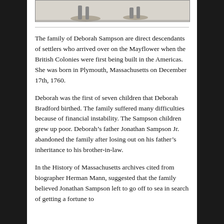[Figure (illustration): Partial view of a black and white engraving or illustration, showing the bottom portion of figures, appears to be a historical scene.]
The family of Deborah Sampson are direct descendants of settlers who arrived over on the Mayflower when the British Colonies were first being built in the Americas. She was born in Plymouth, Massachusetts on December 17th, 1760.
Deborah was the first of seven children that Deborah Bradford birthed. The family suffered many difficulties because of financial instability. The Sampson children grew up poor. Deborah’s father Jonathan Sampson Jr. abandoned the family after losing out on his father’s inheritance to his brother-in-law.
In the History of Massachusetts archives cited from biographer Herman Mann, suggested that the family believed Jonathan Sampson left to go off to sea in search of getting a fortune to